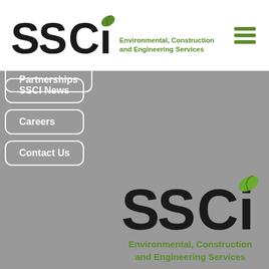[Figure (logo): SSCI logo with green leaf on the i, text reads Environmental, Construction and Engineering Services, hamburger menu icon on right]
Partnerships (partially visible)
SSCI News
Careers
Contact Us
[Figure (logo): Large SSCI logo with green leaf on the i, text below reads Environmental, Construction and Engineering Services in green, on gray background]